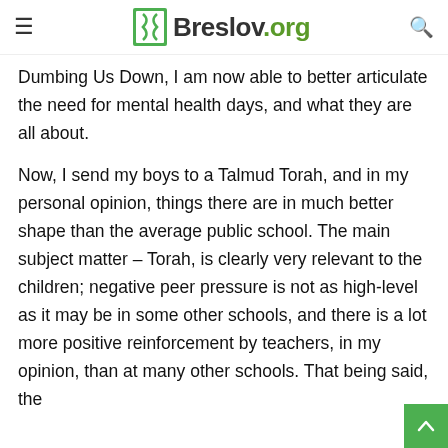Breslov.org
Dumbing Us Down, I am now able to better articulate the need for mental health days, and what they are all about.
Now, I send my boys to a Talmud Torah, and in my personal opinion, things there are in much better shape than the average public school. The main subject matter – Torah, is clearly very relevant to the children; negative peer pressure is not as high-level as it may be in some other schools, and there is a lot more positive reinforcement by teachers, in my opinion, than at many other schools. That being said, the